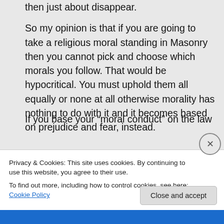then just about disappear.
So my opinion is that if you are going to take a religious moral standing in Masonry then you cannot pick and choose which morals you follow. That would be hypocritical. You must uphold them all equally or none at all otherwise morality has nothing to do with it and it becomes based on prejudice and fear, instead.
If you base your “moral conduct” on the law
Privacy & Cookies: This site uses cookies. By continuing to use this website, you agree to their use.
To find out more, including how to control cookies, see here: Cookie Policy
Close and accept